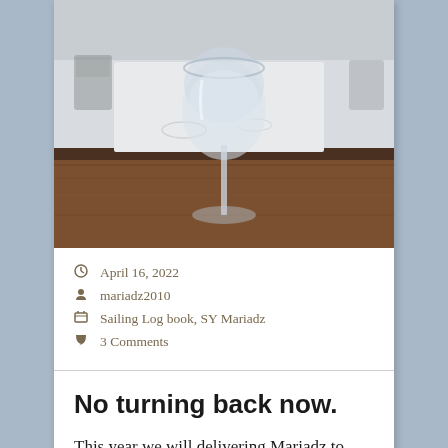[Figure (photo): A wine glass filled with water on a boat table with wooden surfaces visible in the background]
April 16, 2022
mariadz2010
Sailing Log book, SY Mariadz
3 Comments
No turning back now.
This year we will delivering Mariadz to southern Italy and the journey has now well and truly started. Having been in